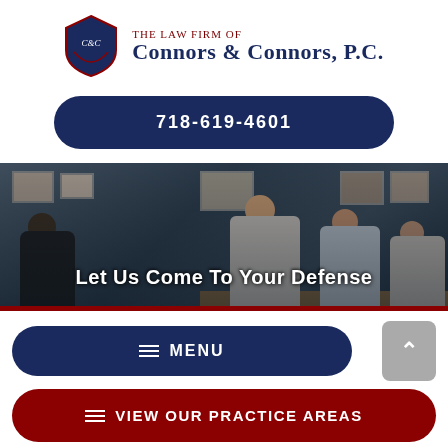[Figure (logo): The Law Firm of Connors & Connors, P.C. shield logo with C&C monogram]
THE LAW FIRM OF CONNORS & CONNORS, P.C.
718-619-4601
[Figure (photo): Office photo of attorneys and clients meeting around a desk, with framed certificates on the wall]
Let Us Come To Your Defense
≡ MENU
≡ VIEW OUR PRACTICE AREAS